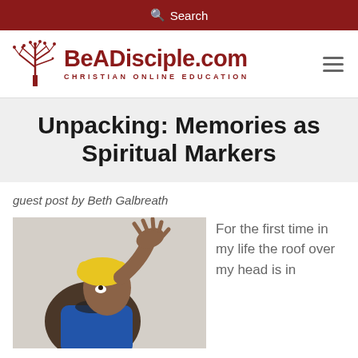Search
[Figure (logo): BeADisciple.com Christian Online Education logo with tree icon]
Unpacking: Memories as Spiritual Markers
guest post by Beth Galbreath
[Figure (photo): Person wearing yellow headwrap looking upward with hand raised]
For the first time in my life the roof over my head is in